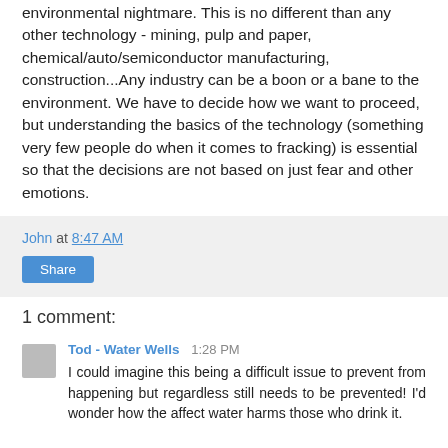environmental nightmare. This is no different than any other technology - mining, pulp and paper, chemical/auto/semiconductor manufacturing, construction...Any industry can be a boon or a bane to the environment. We have to decide how we want to proceed, but understanding the basics of the technology (something very few people do when it comes to fracking) is essential so that the decisions are not based on just fear and other emotions.
John at 8:47 AM
Share
1 comment:
Tod - Water Wells  1:28 PM
I could imagine this being a difficult issue to prevent from happening but regardless still needs to be prevented! I'd wonder how the affect water harms those who drink it.